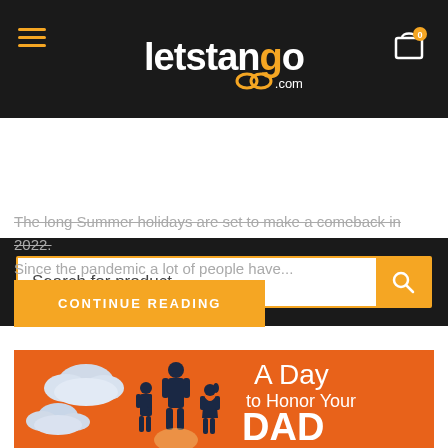[Figure (logo): letstango.com logo in white and orange on dark background header, with hamburger menu icon on left and shopping cart icon on right]
[Figure (screenshot): Search bar with orange border and orange search button icon, on dark background]
The long Summer holidays are set to make a comeback in 2022. Since the pandemic a lot of people have...
[Figure (other): CONTINUE READING button in orange]
[Figure (illustration): A Day to Honor Your DAD - orange background with silhouettes of a father and two children with clouds]